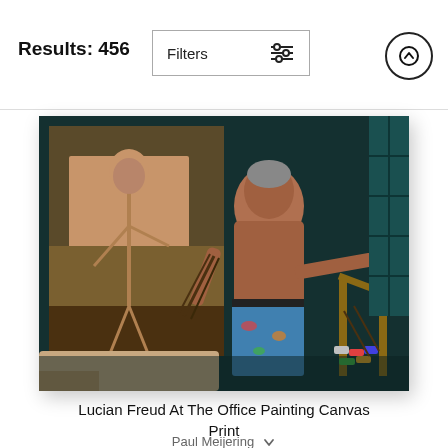Results: 456
Filters
[Figure (photo): Oil painting titled 'Lucian Freud At The Office Painting Canvas Print' by Paul Meijering. Shows an elderly shirtless man in blue patterned pants holding paintbrushes, reaching toward a wooden chair covered with paint tubes and brushes. In the background is a large figurative painting of a standing nude male figure. Teal/dark studio setting with a window on the right.]
Lucian Freud At The Office Painting Canvas Print
Paul Meijering